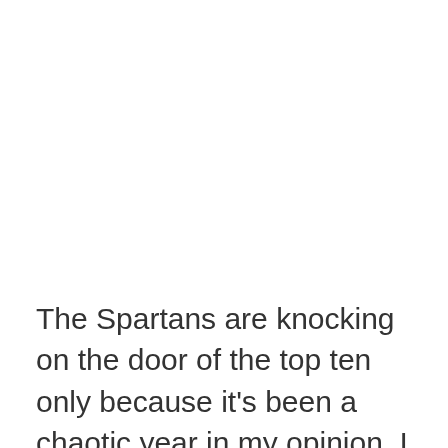The Spartans are knocking on the door of the top ten only because it's been a chaotic year in my opinion. I get it, but also I truly believe this team is nowhere close to their ranking in actuality. They haven't beat a single good team this season, their best win over an immensely overrated Miami team coming into the